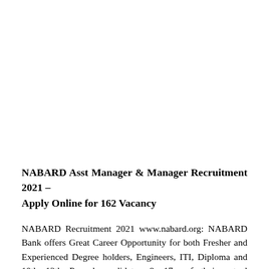NABARD Asst Manager & Manager Recruitment 2021 – Apply Online for 162 Vacancy
NABARD Recruitment 2021 www.nabard.org: NABARD Bank offers Great Career Opportunity for both Fresher and Experienced Degree holders, Engineers, ITI, Diploma and 10th 12th Passed candidates & 17+ of their actual NABARD Vacancy and